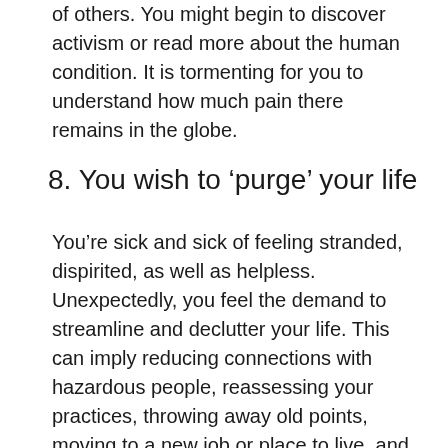of others. You might begin to discover activism or read more about the human condition. It is tormenting for you to understand how much pain there remains in the globe.
8. You wish to ‘purge’ your life
You’re sick and sick of feeling stranded, dispirited, as well as helpless. Unexpectedly, you feel the demand to streamline and declutter your life. This can imply reducing connections with hazardous people, reassessing your practices, throwing away old points, moving to a new job or place to live, and even distributing most of what you have.